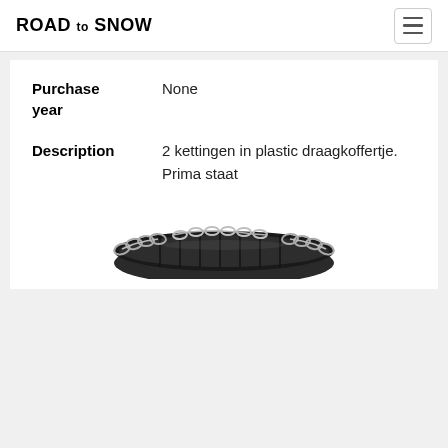ROAD to SNOW
| Purchase year | None |
| Description | 2 kettingen in plastic draagkoffertje. Prima staat |
[Figure (photo): A tire with snow chains on it, partially visible, showing the chain links draped over the dark rubber tire tread.]